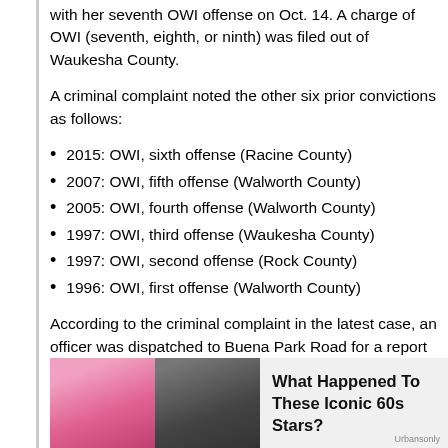with her seventh OWI offense on Oct. 14. A charge of OWI (seventh, eighth, or ninth) was filed out of Waukesha County.
A criminal complaint noted the other six prior convictions as follows:
2015: OWI, sixth offense (Racine County)
2007: OWI, fifth offense (Walworth County)
2005: OWI, fourth offense (Walworth County)
1997: OWI, third offense (Waukesha County)
1997: OWI, second offense (Rock County)
1996: OWI, first offense (Walworth County)
According to the criminal complaint in the latest case, an officer was dispatched to Buena Park Road for a report of a property damage accident on Monday evening, Oct. 28. Dispatchers indicated the driver had stru... a gra... the car...
[Figure (photo): Advertisement with photo of a woman with pink hair and a dark image alongside text 'What Happened To These Iconic 60s Stars?' branded Urbansonly]